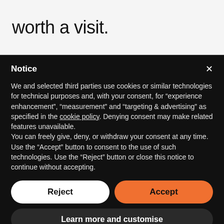worth a visit.
Notice
We and selected third parties use cookies or similar technologies for technical purposes and, with your consent, for “experience enhancement”, “measurement” and “targeting & advertising” as specified in the cookie policy. Denying consent may make related features unavailable.
You can freely give, deny, or withdraw your consent at any time.
Use the “Accept” button to consent to the use of such technologies. Use the “Reject” button or close this notice to continue without accepting.
Reject
Accept
Learn more and customise